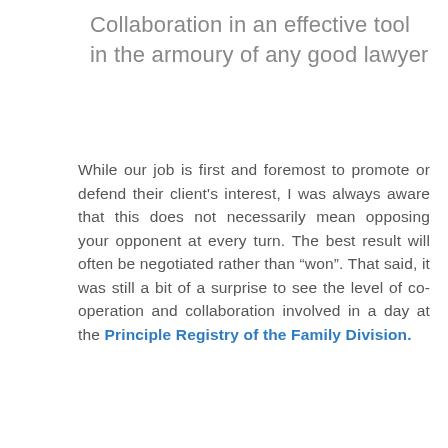Collaboration in an effective tool in the armoury of any good lawyer
While our job is first and foremost to promote or defend their client's interest, I was always aware that this does not necessarily mean opposing your opponent at every turn. The best result will often be negotiated rather than “won”. That said, it was still a bit of a surprise to see the level of co-operation and collaboration involved in a day at the Principle Registry of the Family Division.